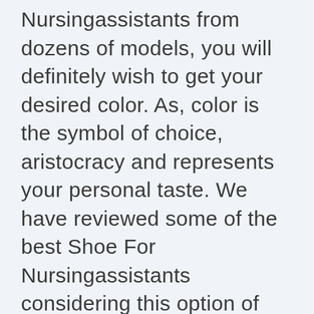Nursingassistants from dozens of models, you will definitely wish to get your desired color. As, color is the symbol of choice, aristocracy and represents your personal taste. We have reviewed some of the best Shoe For Nursingassistants considering this option of course.
Compactness
A Shoe For Nursingassistants is highly compact in order to have a high usage capacity. Compactness also ensures good portability and